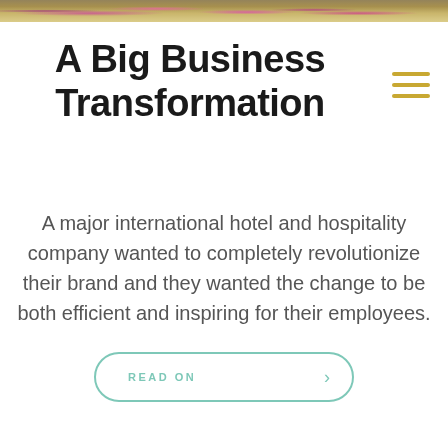[Figure (photo): Partial top strip showing colorful flowering plants/garden, cropped at the top of the page]
A Big Business Transformation
A major international hotel and hospitality company wanted to completely revolutionize their brand and they wanted the change to be both efficient and inspiring for their employees.
READ ON